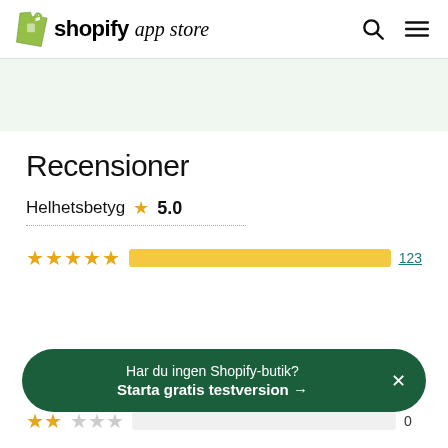shopify app store
Recensioner
Helhetsbetyg ★ 5.0
[Figure (bar-chart): 5-star rating bar]
Har du ingen Shopify-butik? Starta gratis testversion →
[Figure (bar-chart): 2-star rating bar]